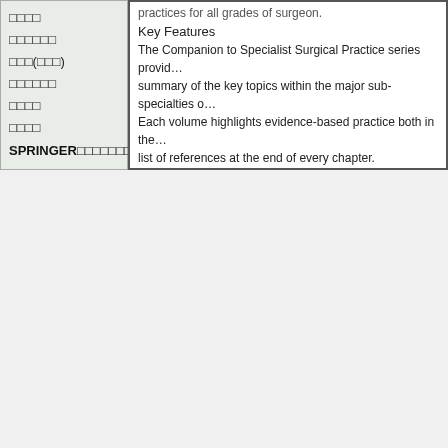□□□□
□□□□□□
□□□(□□□)
□□□□□□
□□□□
□□□□
SPRINGERの□□□□□□
practices for all grades of surgeon.
Key Features
The Companion to Specialist Surgical Practice series provides a summary of the key topics within the major sub-specialties of surgery. Each volume highlights evidence-based practice both in the list of references at the end of every chapter.
□□□□
| □□□□□ | □□□ | □□□□□ | □□□□□ | □□□□□ | □□□□□ | □□□□
□□□□□ □□□□□□□□□ □□□□□□□□□□□□□□
전화(02)2733-2592 팩스(02)2732-5743 E-mail：serv
□□□□□□□□□□□□□90□2□4□□2　　□□□□□□
Copyright 2002-2010 LeaderBook CO.,LTD